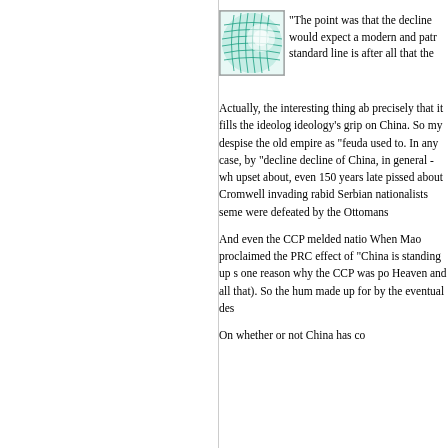[Figure (logo): Teal/green grid sphere logo image]
"The point was that the decline would expect a modern and patr standard line is after all that the
Actually, the interesting thing ab precisely that it fills the ideolog ideology's grip on China. So my despise the old empire as "feuda used to. In any case, by "decline decline of China, in general - wh upset about, even 150 years late pissed about Cromwell invading rabid Serbian nationalists seme were defeated by the Ottomans
And even the CCP melded natio When Mao proclaimed the PRC effect of "China is standing up s one reason why the CCP was po Heaven and all that). So the hum made up for by the eventual des
On whether or not China has co